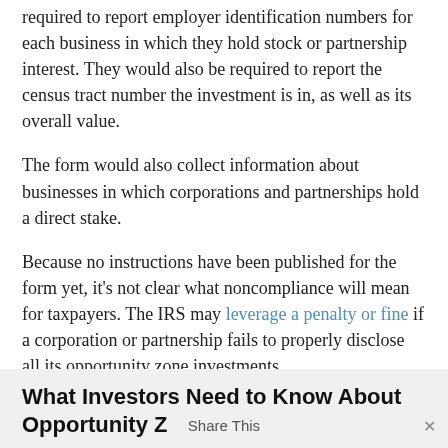required to report employer identification numbers for each business in which they hold stock or partnership interest. They would also be required to report the census tract number the investment is in, as well as its overall value.
The form would also collect information about businesses in which corporations and partnerships hold a direct stake.
Because no instructions have been published for the form yet, it's not clear what noncompliance will mean for taxpayers. The IRS may leverage a penalty or fine if a corporation or partnership fails to properly disclose all its opportunity zone investments.
Treasury noted that the information collected as a result of the draft form would be available to lawmakers.
What Investors Need to Know About Opportunity Z...